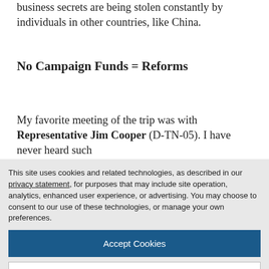business secrets are being stolen constantly by individuals in other countries, like China.
No Campaign Funds = Reforms
My favorite meeting of the trip was with Representative Jim Cooper (D-TN-05). I have never heard such
This site uses cookies and related technologies, as described in our privacy statement, for purposes that may include site operation, analytics, enhanced user experience, or advertising. You may choose to consent to our use of these technologies, or manage your own preferences.
Accept Cookies
More Information
Privacy Policy | Powered by: TrustArc